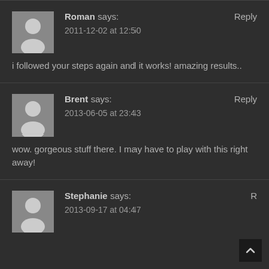Roman says: 2011-12-02 at 12:50 Reply
i followed your steps again and it works! amazing results..
Brent says: 2013-06-05 at 23:43 Reply
wow. gorgeous stuff there. I may have to play with this right away!
Stephanie says: 2013-09-17 at 04:47 Reply